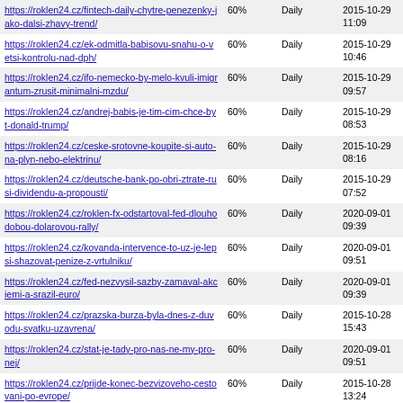| URL | % | Frequency | Date/Time |
| --- | --- | --- | --- |
| https://roklen24.cz/fintech-daily-chytre-penezenky-jako-dalsi-zhavy-trend/ | 60% | Daily | 2015-10-29 11:09 |
| https://roklen24.cz/ek-odmitla-babisovu-snahu-o-vetsi-kontrolu-nad-dph/ | 60% | Daily | 2015-10-29 10:46 |
| https://roklen24.cz/ifo-nemecko-by-melo-kvuli-imigrantum-zrusit-minimalni-mzdu/ | 60% | Daily | 2015-10-29 09:57 |
| https://roklen24.cz/andrej-babis-je-tim-cim-chce-byt-donald-trump/ | 60% | Daily | 2015-10-29 08:53 |
| https://roklen24.cz/ceske-srotovne-koupite-si-auto-na-plyn-nebo-elektrinu/ | 60% | Daily | 2015-10-29 08:16 |
| https://roklen24.cz/deutsche-bank-po-obri-ztrate-rusi-dividendu-a-propousti/ | 60% | Daily | 2015-10-29 07:52 |
| https://roklen24.cz/roklen-fx-odstartoval-fed-dlouhodobou-dolarovou-rally/ | 60% | Daily | 2020-09-01 09:39 |
| https://roklen24.cz/kovanda-intervence-to-uz-je-lepsi-shazovat-penize-z-vrtulniku/ | 60% | Daily | 2020-09-01 09:51 |
| https://roklen24.cz/fed-nezvysil-sazby-zamaval-akciemi-a-srazil-euro/ | 60% | Daily | 2020-09-01 09:39 |
| https://roklen24.cz/prazska-burza-byla-dnes-z-duvodu-svatku-uzavrena/ | 60% | Daily | 2015-10-28 15:43 |
| https://roklen24.cz/stat-je-tady-pro-nas-ne-my-pro-nej/ | 60% | Daily | 2020-09-01 09:51 |
| https://roklen24.cz/prijde-konec-bezvizoveho-cestovani-po-evrope/ | 60% | Daily | 2015-10-28 13:24 |
| https://roklen24.cz/nejbohatsi-muz-sveta-slavi-60-co-o-gatesovi-mozna-nevite/ | 60% | Daily | 2015-10-28 11:29 |
| https://roklen24.cz/28-rijen-oslavy-i-demostrace-sledujeme-zive/ | 60% | Daily | 2015-10-28 10:11 |
| https://roklen24.cz/netrpelivejsi-stale-agresivnejsi-rakousko-se-opevni-plotem/ | 60% | Daily | 2015-10-28 09:05 |
| https://roklen24.cz/volkswagen-strhl-... | 60% | Daily | 2015-10-28 07:?? |